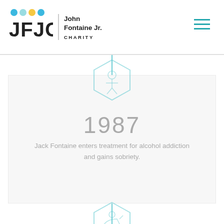[Figure (logo): JFJC - John Fontaine Jr. Charity logo with colored dots and text]
[Figure (infographic): Timeline showing 1987: Jack Fontaine enters treatment for alcohol addiction and gains sobriety. A hexagon icon with a figure is on the vertical teal center line. Below is a second hexagon and 1991: Elizabeth Fontaine is born.]